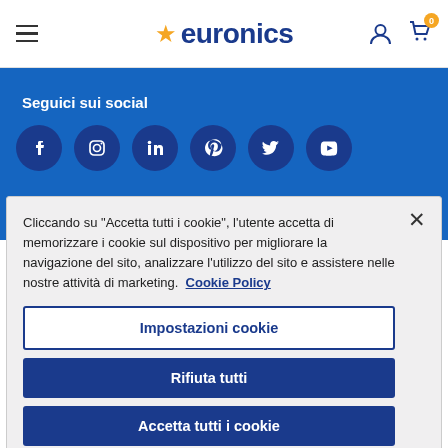Euronics — navigation header with hamburger menu, logo, user icon, and cart icon (badge: 0)
[Figure (screenshot): Blue banner with text 'Seguici sui social' and social media icons: Facebook, Instagram, LinkedIn, Pinterest, Twitter, YouTube]
Cliccando su "Accetta tutti i cookie", l'utente accetta di memorizzare i cookie sul dispositivo per migliorare la navigazione del sito, analizzare l'utilizzo del sito e assistere nelle nostre attività di marketing. Cookie Policy
Impostazioni cookie
Rifiuta tutti
Accetta tutti i cookie